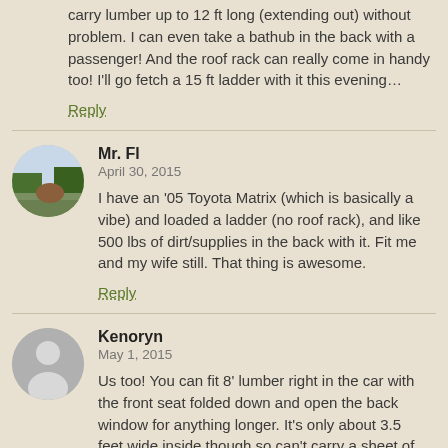carry lumber up to 12 ft long (extending out) without problem. I can even take a bathub in the back with a passenger! And the roof rack can really come in handy too! I'll go fetch a 15 ft ladder with it this evening…
Reply
Mr. Fl
April 30, 2015
I have an '05 Toyota Matrix (which is basically a vibe) and loaded a ladder (no roof rack), and like 500 lbs of dirt/supplies in the back with it. Fit me and my wife still. That thing is awesome.
Reply
Kenoryn
May 1, 2015
Us too! You can fit 8' lumber right in the car with the front seat folded down and open the back window for anything longer. It's only about 3.5 feet wide inside though so can't carry a sheet of drywall or plywood. Presumably you